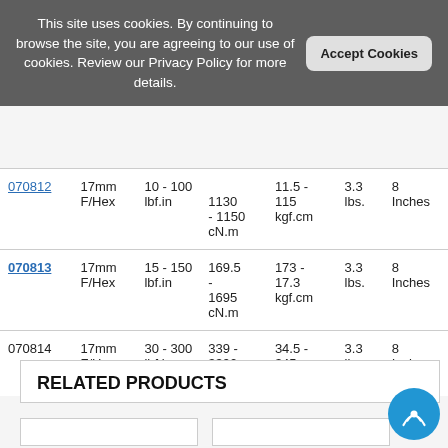This site uses cookies. By continuing to browse the site, you are agreeing to our use of cookies. Review our Privacy Policy for more details.
|  | Drive | Range | cN.m | kgf.cm | Weight | Length |
| --- | --- | --- | --- | --- | --- | --- |
| 070812 | 17mm F/Hex | 10 - 100 lbf.in | 1130 - 1150 cN.m | 11.5 - 115 kgf.cm | 3.3 lbs. | 8 Inches |
| 070813 | 17mm F/Hex | 15 - 150 lbf.in | 169.5 - 1695 cN.m | 173 - 17.3 kgf.cm | 3.3 lbs. | 8 Inches |
| 070814 | 17mm F/Hex | 30 - 300 lbf.in | 339 - 3390 cN.m | 34.5 - 345 kgf.cm | 3.3 lbs. | 8 Inches |
RELATED PRODUCTS